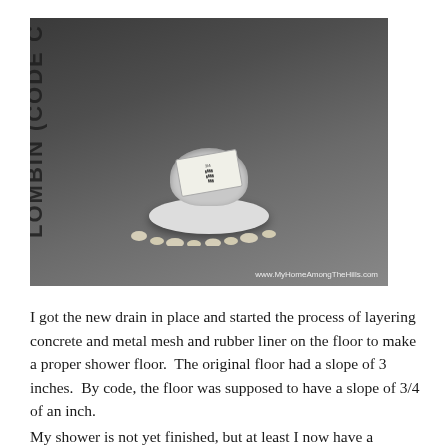[Figure (photo): A shower drain installation photo showing a white drain base and collar with caulk/putty around the edges, placed on a gray waterproof liner membrane with text printed on it. A product label is visible on top of the drain collar. The watermark 'www.MyHomeAmongTheHills.com' appears in the bottom right corner of the photo.]
I got the new drain in place and started the process of layering concrete and metal mesh and rubber liner on the floor to make a proper shower floor.  The original floor had a slope of 3 inches.  By code, the floor was supposed to have a slope of 3/4 of an inch.
My shower is not yet finished, but at least I now have a